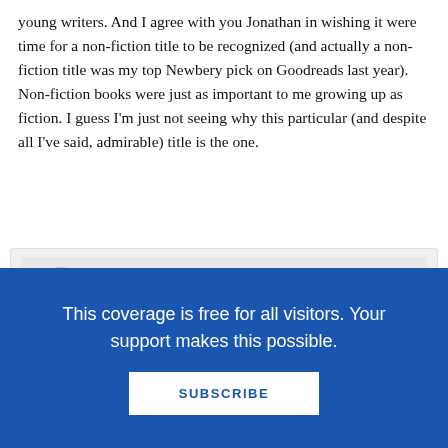young writers. And I agree with you Jonathan in wishing it were time for a non-fiction title to be recognized (and actually a non-fiction title was my top Newbery pick on Goodreads last year). Non-fiction books were just as important to me growing up as fiction. I guess I'm just not seeing why this particular (and despite all I've said, admirable) title is the one.
Wendy says October 20, 2014 at 9:33 pm
I probably fall somewhere in between
This coverage is free for all visitors. Your support makes this possible.
SUBSCRIBE